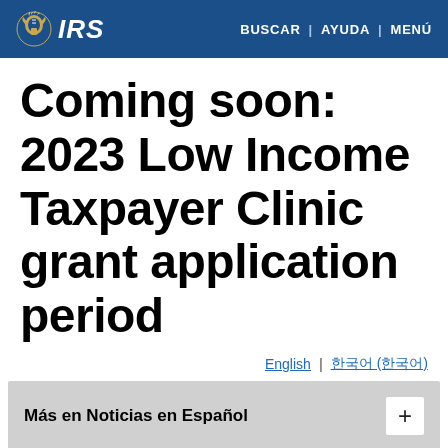IRS | BUSCAR | AYUDA | MENÚ
Coming soon: 2023 Low Income Taxpayer Clinic grant application period
English | 한국어 (한국어)
Más en Noticias en Español +